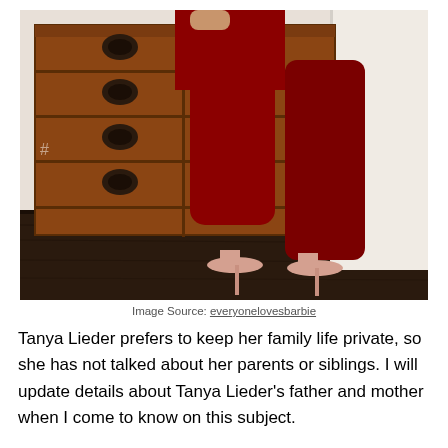[Figure (photo): Person wearing a dark red/burgundy form-fitting outfit and nude high heel mule sandals, standing next to a wooden Asian-style chest of drawers with dark metal hardware, on a dark hardwood floor with white walls in the background.]
Image Source: everyonelovesbarbie
Tanya Lieder prefers to keep her family life private, so she has not talked about her parents or siblings. I will update details about Tanya Lieder's father and mother when I come to know on this subject.